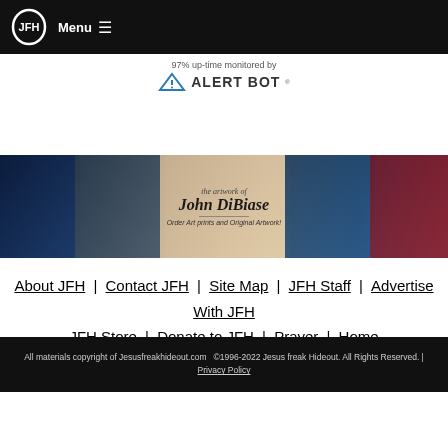Menu ≡
[Figure (logo): AlertBot logo with text '97% up-time monitored by ALERT BOT']
[Figure (illustration): Banner for 'the artwork of John DiBiase - Order Art prints and Original Artwork!' with movie character collage]
About JFH | Contact JFH | Site Map | JFH Staff | Advertise With JFH
JFH Store | Donate to JFH | Prayer | Home
All materials copyright of Jesusfreakhideout.com  ©1996-2022 Jesus freak Hideout. All Rights Reserved. | Privacy Policy